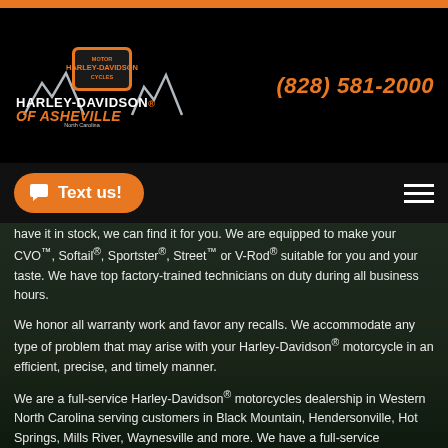[Figure (logo): Harley-Davidson of Asheville logo with mountains and HD shield emblem, North Carolina]
(828) 581-2000
Text us!
have it in stock, we can find it for you. We are equipped to make your CVO™, Softail®, Sportster®, Street™ or V-Rod® suitable for you and your taste. We have top factory-trained technicians on duty during all business hours.
We honor all warranty work and favor any recalls. We accommodate any type of problem that may arise with your Harley-Davidson® motorcycle in an efficient, precise, and timely manner.
We are a full-service Harley-Davidson® motorcycles dealership in Western North Carolina serving customers in Black Mountain, Hendersonville, Hot Springs, Mills River, Waynesville and more. We have a full-service department and a knowledgeable staff to help you. We are dedicated to bringing our customers the latest and greatest products from Harley-Davidson® Motor Company.
Contact us or stop in today and we'll be happy to help you! If you come